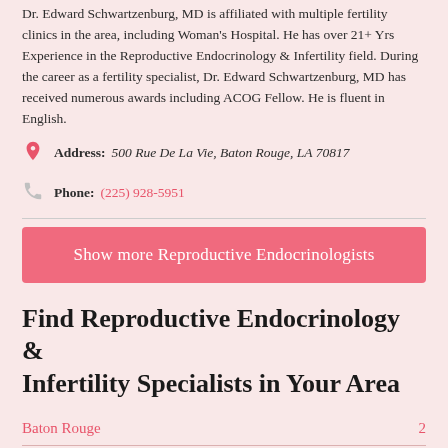Dr. Edward Schwartzenburg, MD is affiliated with multiple fertility clinics in the area, including Woman's Hospital. He has over 21+ Yrs Experience in the Reproductive Endocrinology & Infertility field. During the career as a fertility specialist, Dr. Edward Schwartzenburg, MD has received numerous awards including ACOG Fellow. He is fluent in English.
Address: 500 Rue De La Vie, Baton Rouge, LA 70817
Phone: (225) 928-5951
Show more Reproductive Endocrinologists
Find Reproductive Endocrinology & Infertility Specialists in Your Area
Baton Rouge  2
Lafayette  2